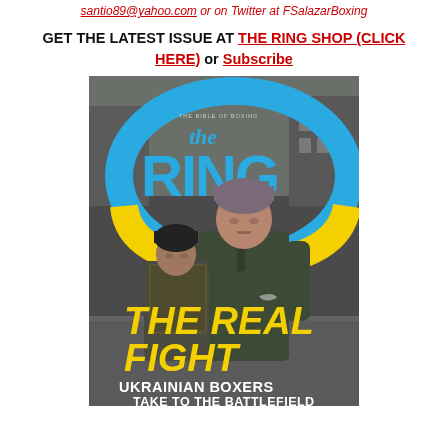santio89@yahoo.com or on Twitter at FSalazarBoxing
GET THE LATEST ISSUE AT THE RING SHOP (CLICK HERE) or Subscribe
[Figure (photo): Cover of The Ring magazine featuring two men in winter clothing walking, with text 'THE REAL FIGHT' and 'UKRAINIAN BOXERS TAKE TO THE BATTLEFIELD'. The Ring logo appears at the top in blue and yellow colors against a dark urban background.]